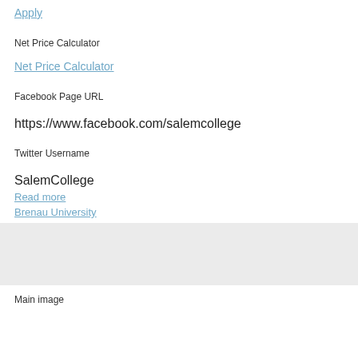Apply
Net Price Calculator
Net Price Calculator
Facebook Page URL
https://www.facebook.com/salemcollege
Twitter Username
SalemCollege
Read more
Brenau University
Main image